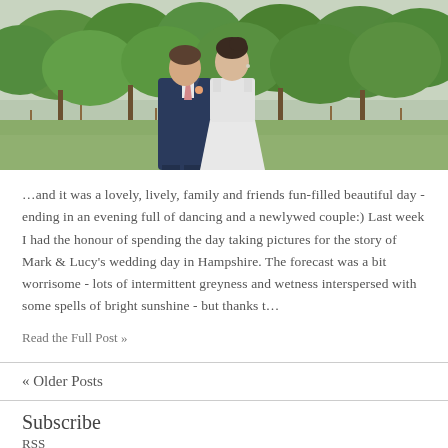[Figure (photo): A wedding couple — groom in navy blue suit with pink tie and boutonniere, bride in white sleeveless gown — standing outdoors among green trees on a cloudy day]
…and it was a lovely, lively, family and friends fun-filled beautiful day - ending in an evening full of dancing and a newlywed couple:) Last week I had the honour of spending the day taking pictures for the story of Mark & Lucy's wedding day in Hampshire. The forecast was a bit worrisome - lots of intermittent greyness and wetness interspersed with some spells of bright sunshine - but thanks t…
Read the Full Post »
« Older Posts
Subscribe
RSS